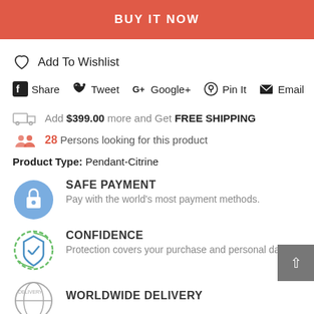BUY IT NOW
Add To Wishlist
Share  Tweet  G+ Google+  Pin It  Email
Add $399.00 more and Get FREE SHIPPING
28 Persons looking for this product
Product Type: Pendant-Citrine
SAFE PAYMENT
Pay with the world's most payment methods.
CONFIDENCE
Protection covers your purchase and personal data.
WORLDWIDE DELIVERY